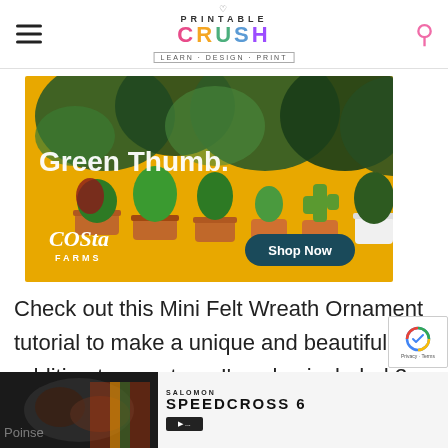PRINTABLE CRUSH — LEARN · DESIGN · PRINT
[Figure (photo): Costa Farms advertisement banner with yellow background, potted tropical plants arranged in a row, 'Green Thumb.' text in white, Costa Farms logo, and a teal 'Shop Now' button]
Check out this Mini Felt Wreath Ornament tutorial to make a unique and beautiful addition to your tree. I've also included 3 other
[Figure (photo): Partial thumbnail image at bottom left – dark image possibly of a wreath or craft, partially obscured by an advertisement overlay]
[Figure (infographic): Salomon Speedcross 6 advertisement: dark background thumbnail on left, 'SALOMON' brand text, 'SPEEDCROSS 6' product name, and a dark Shop Now button on right]